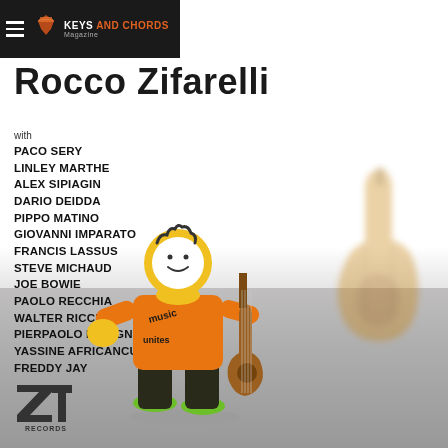Keys and Chords Magazine
Rocco Zifarelli
with
PACO SERY
LINLEY MARTHE
ALEX SIPIAGIN
DARIO DEIDDA
PIPPO MATINO
GIOVANNI IMPARATO
FRANCIS LASSUS
STEVE MICHAUD
JOE BOWIE
PAOLO RECCHIA
WALTER RICCI
PIERPAOLO BISOGNO
YASSINE AFRICANCUTS
FREDDY JAY
[Figure (illustration): Orange toy figurine holding a guitar, with a smiley face, wearing orange hoodie with 'music unites' text and black pants with green shoes. Background shows blurred electric guitar on the right side.]
[Figure (logo): Zeta Records logo at bottom left - stylized Z with T letters forming a logo with 'RECORDS' text.]